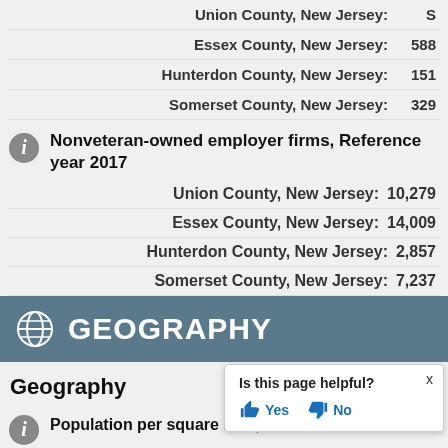Union County, New Jersey: S
Essex County, New Jersey: 588
Hunterdon County, New Jersey: 151
Somerset County, New Jersey: 329
Nonveteran-owned employer firms, Reference year 2017
Union County, New Jersey: 10,279
Essex County, New Jersey: 14,009
Hunterdon County, New Jersey: 2,857
Somerset County, New Jersey: 7,237
GEOGRAPHY
Geography
Population per square mile, 2...